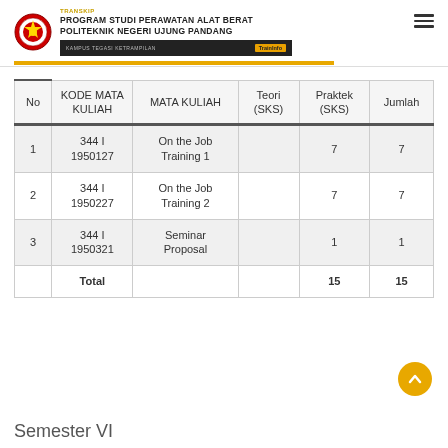PROGRAM STUDI PERAWATAN ALAT BERAT POLITEKNIK NEGERI UJUNG PANDANG
| No | KODE MATA KULIAH | MATA KULIAH | Teori (SKS) | Praktek (SKS) | Jumlah |
| --- | --- | --- | --- | --- | --- |
| 1 | 344 I 1950127 | On the Job Training 1 |  | 7 | 7 |
| 2 | 344 I 1950227 | On the Job Training 2 |  | 7 | 7 |
| 3 | 344 I 1950321 | Seminar Proposal |  | 1 | 1 |
|  | Total |  |  | 15 | 15 |
Semester VI